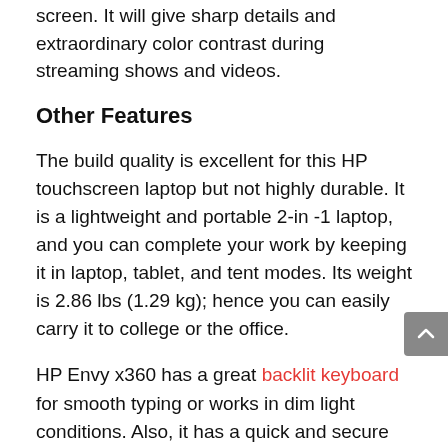screen. It will give sharp details and extraordinary color contrast during streaming shows and videos.
Other Features
The build quality is excellent for this HP touchscreen laptop but not highly durable. It is a lightweight and portable 2-in-1 laptop, and you can complete your work by keeping it in laptop, tablet, and tent modes. Its weight is 2.86 lbs (1.29 kg); hence you can easily carry it to college or the office.
HP Envy x360 has a great backlit keyboard for smooth typing or works in dim light conditions. Also, it has a quick and secure fingerprint reader.
Due to more convenience, it comes with many additional